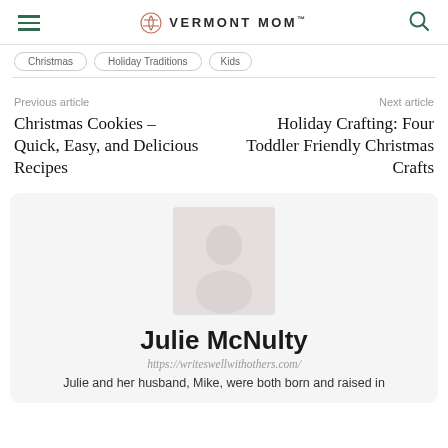VERMONT MOM
Previous article
Christmas Cookies – Quick, Easy, and Delicious Recipes
Next article
Holiday Crafting: Four Toddler Friendly Christmas Crafts
[Figure (photo): Author photo of Julie McNulty]
Julie McNulty
https://writeswellwithothers.com/
Julie and her husband, Mike, were both born and raised in